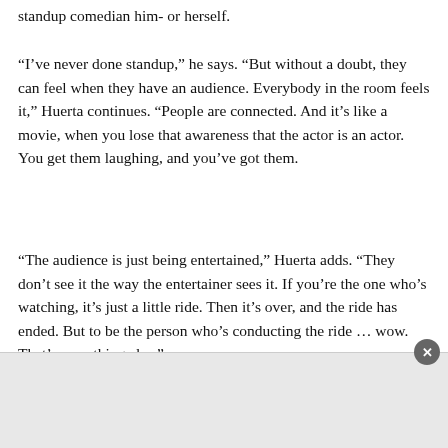standup comedian him- or herself.
“I’ve never done standup,” he says. “But without a doubt, they can feel when they have an audience. Everybody in the room feels it,” Huerta continues. “People are connected. And it’s like a movie, when you lose that awareness that the actor is an actor. You get them laughing, and you’ve got them.
“The audience is just being entertained,” Huerta adds. “They don’t see it the way the entertainer sees it. If you’re the one who’s watching, it’s just a little ride. Then it’s over, and the ride has ended. But to be the person who’s conducting the ride … wow. That’s something else.”
[Figure (other): Advertisement bar at the bottom of the page with a close (X) button in the top-right corner.]